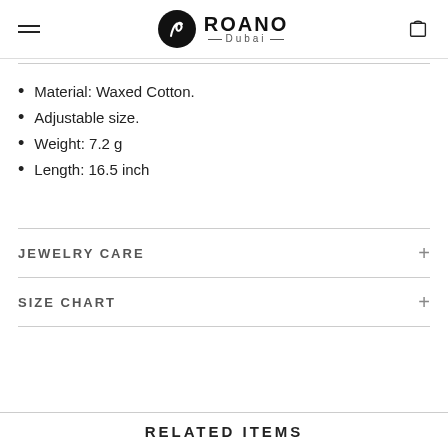ROANO Dubai
Material: Waxed Cotton.
Adjustable size.
Weight: 7.2 g
Length: 16.5 inch
JEWELRY CARE
SIZE CHART